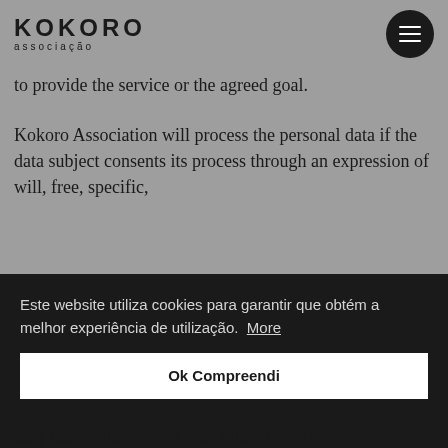[Figure (logo): Kokoro associação logo with wordmark in uppercase and subtitle]
to provide the service or the agreed goal.
Kokoro Association will process the personal data if the data subject consents its process through an expression of will, free, specific,
Este website utiliza cookies para garantir que obtém a melhor experiência de utilização. More
Ok Compreendi
only during the needed time related with the